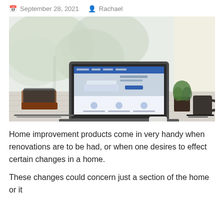September 28, 2021   Rachael
[Figure (photo): A laptop showing a home improvement/e-commerce website on screen, placed on a wooden desk with a small potted plant, coffee mug, notebooks, and pens. Bright window with trees visible in the background.]
Home improvement products come in very handy when renovations are to be had, or when one desires to effect certain changes in a home.
These changes could concern just a section of the home or it